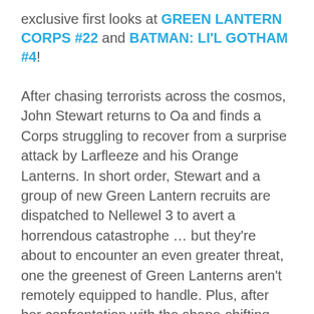exclusive first looks at GREEN LANTERN CORPS #22 and BATMAN: LI'L GOTHAM #4!
After chasing terrorists across the cosmos, John Stewart returns to Oa and finds a Corps struggling to recover from a surprise attack by Larfleeze and his Orange Lanterns. In short order, Stewart and a group of new Green Lantern recruits are dispatched to Nellewel 3 to avert a horrendous catastrophe … but they're about to encounter an even greater threat, one the greenest of Green Lanterns aren't remotely equipped to handle. Plus, after her confrontation with the shape-shifting Durlans, Fatality has managed to track